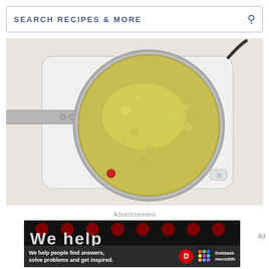SEARCH RECIPES & MORE
[Figure (photo): Overhead view of a stainless steel saucepan on a white electric hot plate, containing bubbling golden-green liquid (likely clarified butter or oil with herbs/aromatics). The pan has a long handle extending to the left.]
Advertisement
[Figure (photo): Dotdash Meredith advertisement banner with dark background, red dots pattern, large partially visible white text, and bottom strip reading 'We help people find answers, solve problems and get inspired.' with Dotdash Meredith logo.]
Ad